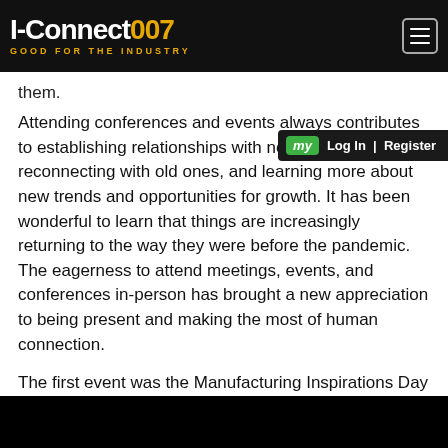I-Connect007 GOOD FOR THE INDUSTRY
them.
Attending conferences and events always contributes to establishing relationships with new clients, reconnecting with old ones, and learning more about new trends and opportunities for growth. It has been wonderful to learn that things are increasingly returning to the way they were before the pandemic. The eagerness to attend meetings, events, and conferences in-person has brought a new appreciation to being present and making the most of human connection.
The first event was the Manufacturing Inspirations Day organized by Jim Michlig, college, career, and experiential learning coordinator, Michelle Graikowski